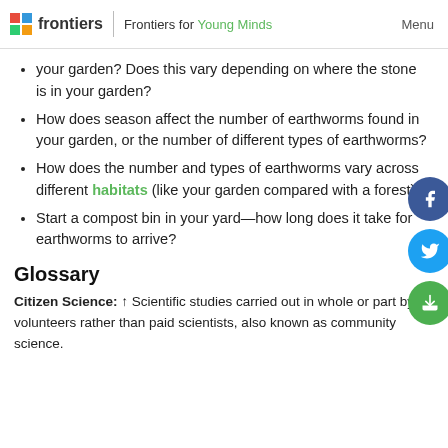frontiers | Frontiers for Young Minds    Menu
your garden? Does this vary depending on where the stone is in your garden?
How does season affect the number of earthworms found in your garden, or the number of different types of earthworms?
How does the number and types of earthworms vary across different habitats (like your garden compared with a forest)?
Start a compost bin in your yard—how long does it take for earthworms to arrive?
Glossary
Citizen Science: ↑ Scientific studies carried out in whole or part by volunteers rather than paid scientists, also known as community science.